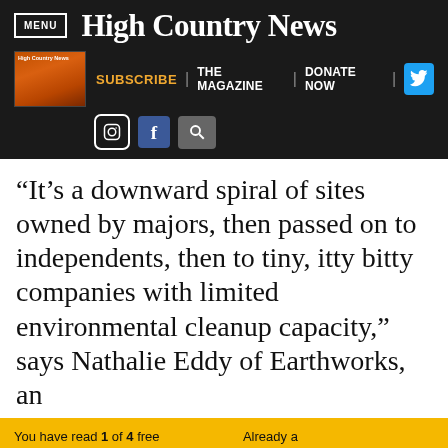MENU | High Country News
[Figure (logo): High Country News magazine thumbnail and navigation bar with SUBSCRIBE, THE MAGAZINE, DONATE NOW links and social media icons]
“It’s a downward spiral of sites owned by majors, then passed on to independents, then to tiny, itty bitty companies with limited environmental cleanup capacity,” says Nathalie Eddy of Earthworks, an
You have read 1 of 4 free articles this month. Already a subscriber? Log in.
Support independent journalism.
Subscribe